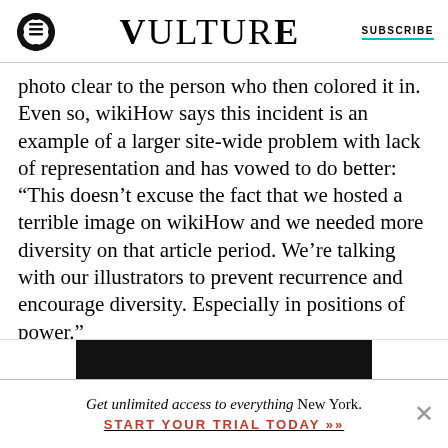VULTURE | SUBSCRIBE
photo clear to the person who then colored it in. Even so, wikiHow says this incident is an example of a larger site-wide problem with lack of representation and has vowed to do better: “This doesn’t excuse the fact that we hosted a terrible image on wikiHow and we needed more diversity on that article period. We’re talking with our illustrators to prevent recurrence and encourage diversity. Especially in positions of power.”
Get unlimited access to everything New York. START YOUR TRIAL TODAY »